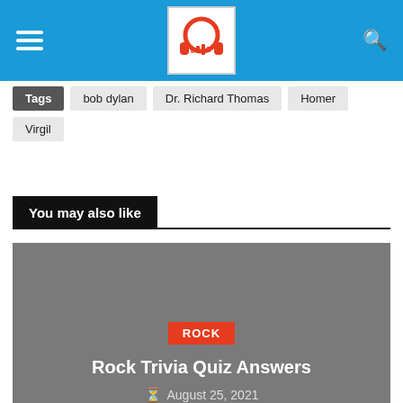Navigation header with hamburger menu, logo, and search icon
Tags  bob dylan  Dr. Richard Thomas  Homer  Virgil
You may also like
[Figure (other): Card image with gray background showing ROCK category badge, title 'Rock Trivia Quiz Answers', and date 'August 25, 2021']
[Figure (other): Partially visible second card with light gray background]